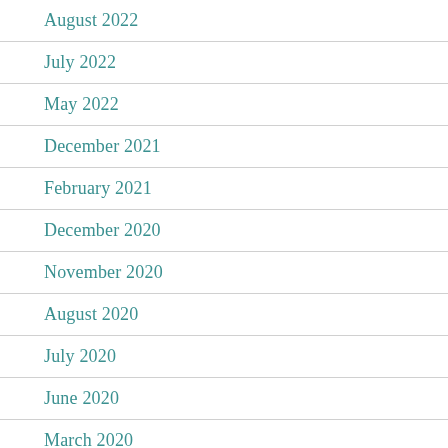August 2022
July 2022
May 2022
December 2021
February 2021
December 2020
November 2020
August 2020
July 2020
June 2020
March 2020